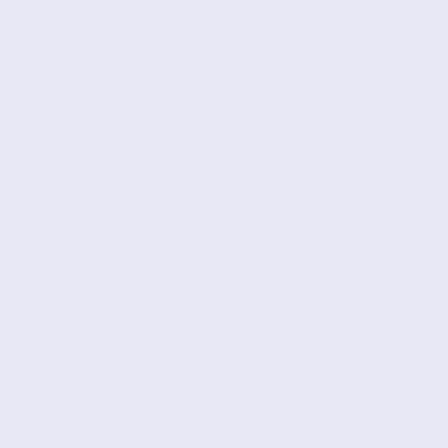href= http://de.moncler0.com/moncler-m%C3%A4nner-2014-s 5.html">Moncler Männer 2014 schwarz 8507</a>&euro;1,36 <br />Sie sparen 84% ! <a href="http://de.moncler0.com/moncl 2014-coffee-8507-p-20.html"><img src="http://de.moncler0.com/images/_small//moncler01_/Monc Men/Moncler-Men-2014-Coffee-8507.jpg" alt="Moncler Mä 8507" title=" Moncler Männer 2014 Coffee 8507 " width="13 </a><a class="sidebox-products" href="http://de.moncler0.com m%C3%A4nner-2014-coffee-8507-p-20.html">Moncler Män 8507</a>&euro;1,473.12 &euro;218.55 <br />Sie sparen 85% ! href="http://de.moncler0.com/moncler-m%C3%A4nner-2014-g 24.html"><img src="http://de.moncler0.com/images/_small//mc 2014-Men/Moncler-Men-2014-Gray-8506.jpg" alt="Moncler M 8506" title=" Moncler Männer 2014 Grau 8506 " width="130 </a><a class="sidebox-products" href="http://de.moncler0.com m%C3%A4nner-2014-grau-8506-p-24.html">Moncler Männe 8506</a>&euro;1,526.13 &euro;222.27 <br />Sie sparen 85% ! id="columnCenter" valign="top"> <a href="http://de.moncler0. :: Moncler Boots <h1 id="productListHeading">Moncler Boots class="clearBoth" /> Zeige <strong>1 </strong> bis <strong>10 <strong>10 </strong> Artikeln) <br class="clearBoth" /> <a href="http://de.moncler0.com/moncler-boots-nible-beige-stilvo gro%C3%9Fz%C3%BCgig-p-650.html"><div style="vertical-a middle;height:240px"><img src="http://de.moncler0.com/images/_small//moncler01_/Monc Boots-Nible-Beige-Stilvoll-And-Grosszugig-p-alt.jpg" alt="Moncle